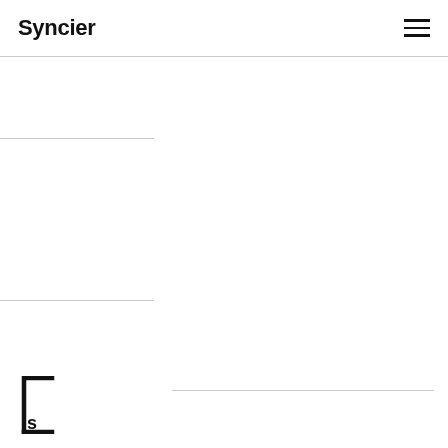Syncier
[Figure (logo): Syncier logo mark — square bracket shape with letter S at bottom left]